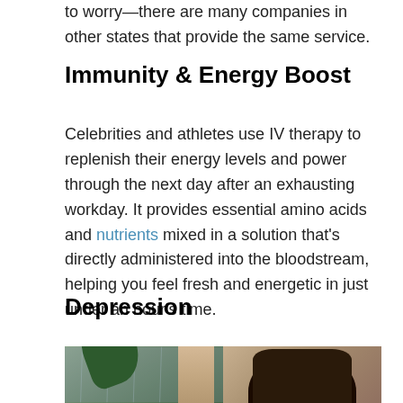to worry—there are many companies in other states that provide the same service.
Immunity & Energy Boost
Celebrities and athletes use IV therapy to replenish their energy levels and power through the next day after an exhausting workday. It provides essential amino acids and nutrients mixed in a solution that's directly administered into the bloodstream, helping you feel fresh and energetic in just under an hour's time.
Depression
[Figure (photo): Two-panel photo: left panel shows a rainy window with a green plant and curtain; right panel shows a person with curly dark hair resting their head on their arm, appearing sad or depressed.]